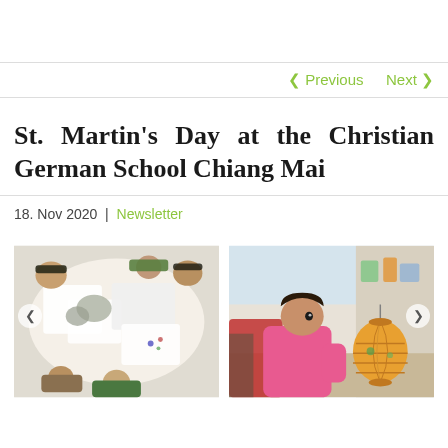< Previous   Next >
St. Martin's Day at the Christian German School Chiang Mai
18. Nov 2020  |  Newsletter
[Figure (photo): Top-down view of children sitting on the floor drawing and crafting together]
[Figure (photo): Young girl in a pink sweater working on a colorful lantern in a classroom]